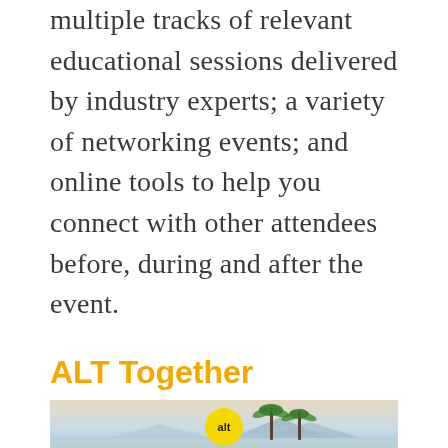multiple tracks of relevant educational sessions delivered by industry experts; a variety of networking events; and online tools to help you connect with other attendees before, during and after the event.
ALT Together
[Figure (photo): Photo of palm trees against a hazy mountain background with an 'alt' logo badge in yellow circle]